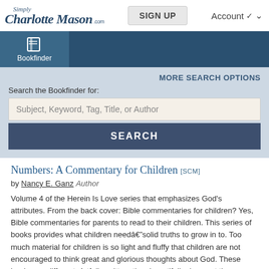Simply Charlotte Mason .com — SIGN UP — Account
[Figure (screenshot): Bookfinder navigation icon with book symbol]
MORE SEARCH OPTIONS
Search the Bookfinder for:
Subject, Keyword, Tag, Title, or Author
SEARCH
Numbers: A Commentary for Children [SCM]
by Nancy E. Ganz  Author
Volume 4 of the Herein Is Love series that emphasizes God's attributes. From the back cover: Bible commentaries for children? Yes, Bible commentaries for parents to read to their children. This series of books provides what children needâsolid truths to grow in to. Too much material for children is so light and fluffy that children are not encouraged to think great and glorious thoughts about God. These books are different. Artfully written, they beautifully draw out the implications of the Old Testament narrative that are foundational for Christian faith. I guarantee that your children will not want you to stop reading